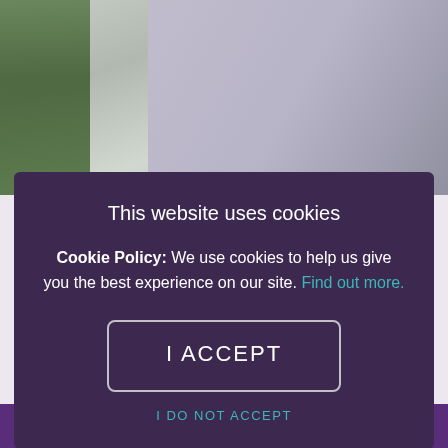[Figure (photo): Background photo of a person with plants/greenery on the left, partially visible behind a cookie consent overlay]
Different
Tickets from £20.00
[Figure (screenshot): Cookie consent modal overlay with dark purple background containing title, policy text, I ACCEPT button, and I DO NOT ACCEPT link]
This website uses cookies
Cookie Policy: We use cookies to help us give you the best experience on our site. Find out more.
I ACCEPT
I DO NOT ACCEPT
BUY TICKETS ▶